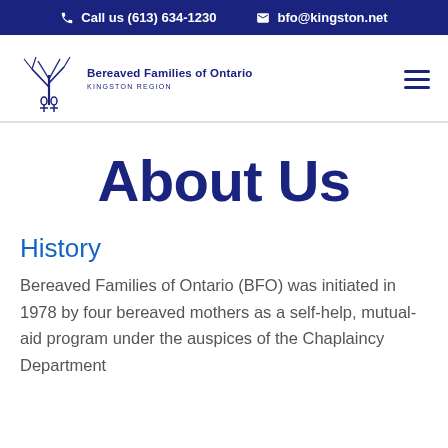Call us (613) 634-1230   bfo@kingston.net
[Figure (logo): Bereaved Families of Ontario Kingston Region logo with stylized figures and tree]
About Us
History
Bereaved Families of Ontario (BFO) was initiated in 1978 by four bereaved mothers as a self-help, mutual-aid program under the auspices of the Chaplaincy Department